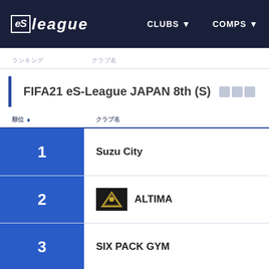eS league  CLUBS ▼  COMPS ▼
ランキング  クラブ名
FIFA21 eS-League JAPAN 8th (S)  開催中
| 順位 | クラブ名 |
| --- | --- |
| 1 | Suzu City |
| 2 | ALTIMA |
| 3 | SIX PACK GYM |
| 4 | Viciado |